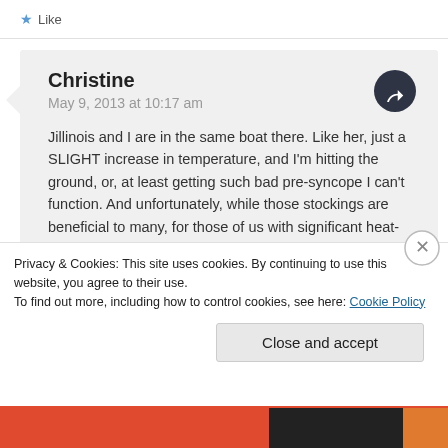Like
Christine
May 9, 2013 at 10:17 am
Jillinois and I are in the same boat there. Like her, just a SLIGHT increase in temperature, and I'm hitting the ground, or, at least getting such bad pre-syncope I can't function. And unfortunately, while those stockings are beneficial to many, for those of us with significant heat-intolerance problems (or in our cases, non-cool intolerancell)
Privacy & Cookies: This site uses cookies. By continuing to use this website, you agree to their use.
To find out more, including how to control cookies, see here: Cookie Policy
Close and accept